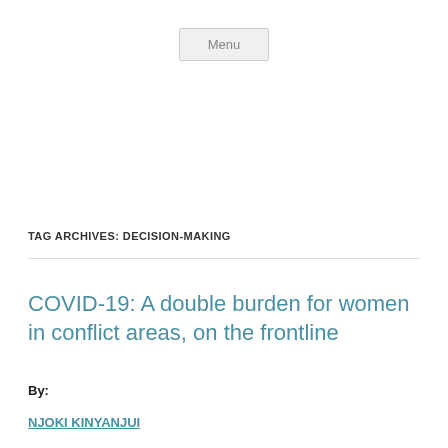Menu
TAG ARCHIVES: DECISION-MAKING
COVID-19: A double burden for women in conflict areas, on the frontline
By:
NJOKI KINYANJUI